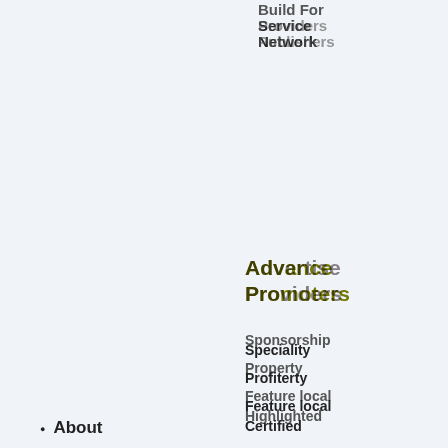Build For Service Providers Network
Advertise Providers
Sponsorship Profile
Feature local
Highlighted
Generate and Newsletter
Comparative Analysis
About